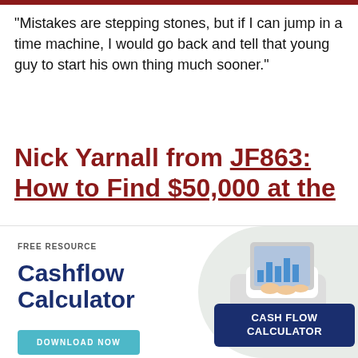“Mistakes are stepping stones, but if I can jump in a time machine, I would go back and tell that young guy to start his own thing much sooner.”
Nick Yarnall from JF863: How to Find $50,000 at the
[Figure (infographic): Advertisement for a free resource: Cashflow Calculator. Shows a blue 'DOWNLOAD NOW' button, an image of hands holding a tablet with financial charts, and a dark blue card labeled 'CASH FLOW CALCULATOR'. Has a close X and a blue dot in the top right corner.]